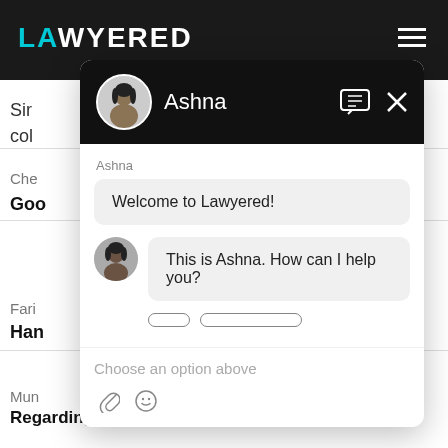[Figure (screenshot): Screenshot of Lawyered website with a chat widget popup. The chat widget shows an avatar and name 'Ashna' in a black header with message and close icons. The chat body shows a welcome message 'Welcome to Lawyered!' in a grey bubble, followed by a second message with avatar 'This is Ashna. How can I help you?' in another grey bubble. Below are quick reply buttons and a text input area with placeholder 'Choose an option above'. The background shows partial website content including text fragments 'Sir', 'col', 'Che', 'Goo', 'Fari', 'Han', 'Mun', and 'Regarding Property' at the bottom.]